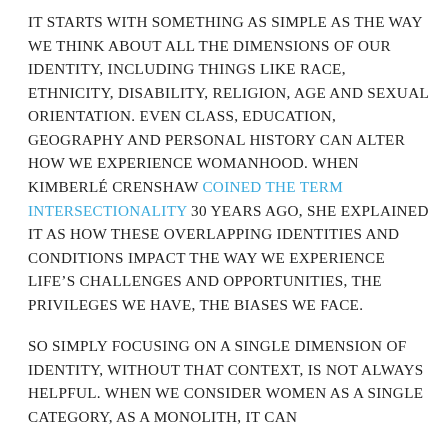It starts with something as simple as the way we think about all the dimensions of our identity, including things like race, ethnicity, disability, religion, age and sexual orientation. Even class, education, geography and personal history can alter how we experience womanhood. When Kimberlé Crenshaw coined the term intersectionality 30 years ago, she explained it as how these overlapping identities and conditions impact the way we experience life's challenges and opportunities, the privileges we have, the biases we face.
So simply focusing on a single dimension of identity, without that context, is not always helpful. When we consider women as a single category, as a monolith, it can